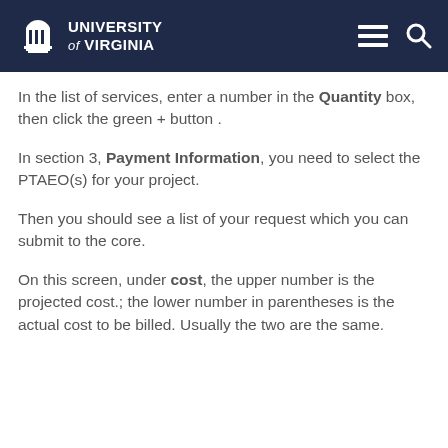University of Virginia
In the list of services, enter a number in the Quantity box, then click the green + button .
In section 3, Payment Information, you need to select the PTAEO(s) for your project.
Then you should see a list of your request which you can submit to the core.
On this screen, under cost, the upper number is the projected cost.; the lower number in parentheses is the actual cost to be billed. Usually the two are the same.